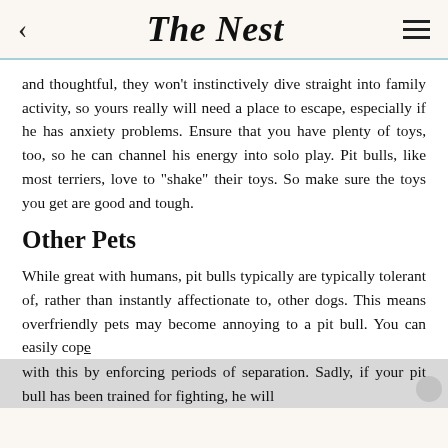The Nest
and thoughtful, they won't instinctively dive straight into family activity, so yours really will need a place to escape, especially if he has anxiety problems. Ensure that you have plenty of toys, too, so he can channel his energy into solo play. Pit bulls, like most terriers, love to "shake" their toys. So make sure the toys you get are good and tough.
Other Pets
While great with humans, pit bulls typically are typically tolerant of, rather than instantly affectionate to, other dogs. This means overfriendly pets may become annoying to a pit bull. You can easily cope with this by enforcing periods of separation. Sadly, if your pit bull has been trained for fighting, he will